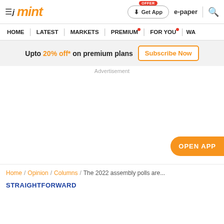mint — Get App | e-paper | search
HOME | LATEST | MARKETS | PREMIUM | FOR YOU | WA
Upto 20% off* on premium plans  Subscribe Now
Advertisement
OPEN APP
Home / Opinion / Columns / The 2022 assembly polls are...
STRAIGHTFORWARD